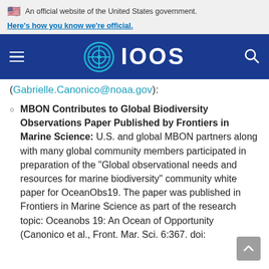An official website of the United States government. Here's how you know we're official.
[Figure (logo): IOOS (Integrated Ocean Observing System) navigation bar logo with hamburger menu and search icon on dark blue background]
Gabrielle.Canonico@noaa.gov):
MBON Contributes to Global Biodiversity Observations Paper Published by Frontiers in Marine Science: U.S. and global MBON partners along with many global community members participated in preparation of the "Global observational needs and resources for marine biodiversity" community white paper for OceanObs19. The paper was published in Frontiers in Marine Science as part of the research topic: Oceanobs 19: An Ocean of Opportunity (Canonico et al., Front. Mar. Sci. 6:367. doi: